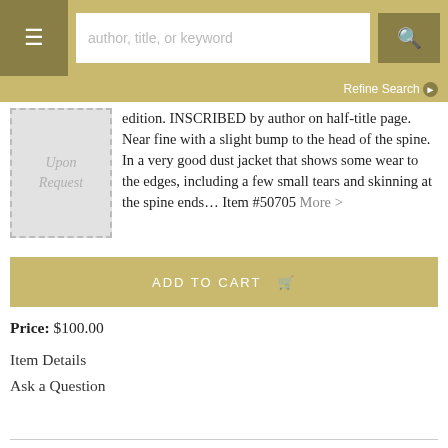[Figure (screenshot): Navigation header bar with menu button, search field with placeholder 'author, title, or keyword', and search icon button]
Refine Search ▶
[Figure (illustration): Book image placeholder reading 'Upon Request' in italic text on grey dotted-border background]
edition. INSCRIBED by author on half-title page. Near fine with a slight bump to the head of the spine. In a very good dust jacket that shows some wear to the edges, including a few small tears and skinning at the spine ends… Item #50705 More >
ADD TO CART 🛒
Price: $100.00
Item Details
Ask a Question